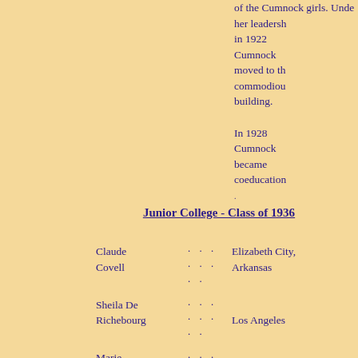of the Cumnock girls. Under her leadership in 1922 Cumnock moved to the commodious building.

In 1928 Cumnock became coeducational.
Junior College - Class of 1936
Claude Covell ... Elizabeth City, Arkansas
Sheila De Richebourg ... Los Angeles
Marie Louise ... Los Angeles